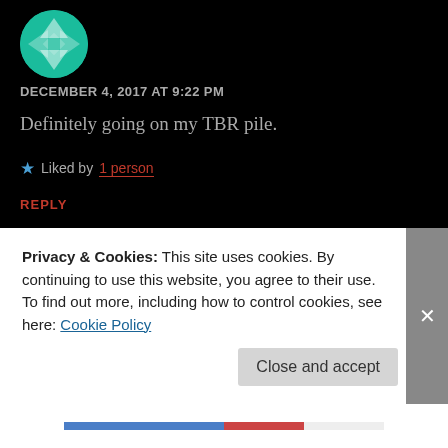[Figure (illustration): Circular avatar with teal/green background and geometric pattern (triangles/diamonds)]
DECEMBER 4, 2017 AT 9:22 PM
Definitely going on my TBR pile.
Liked by 1 person
REPLY
[Figure (photo): Circular avatar photo of a bald man in a dark shirt, with books visible in background]
alburke47
Privacy & Cookies: This site uses cookies. By continuing to use this website, you agree to their use.
To find out more, including how to control cookies, see here: Cookie Policy
Close and accept